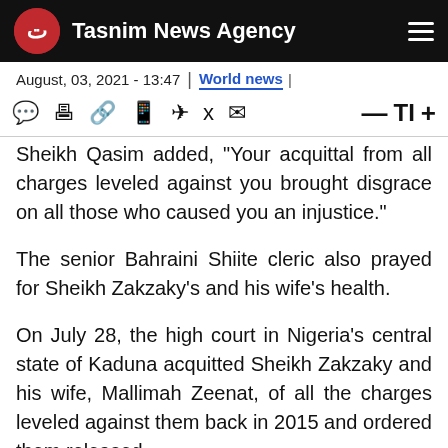Tasnim News Agency
August, 03, 2021 - 13:47 | World news
Sheikh Qasim added, "Your acquittal from all charges leveled against you brought disgrace on all those who caused you an injustice."
The senior Bahraini Shiite cleric also prayed for Sheikh Zakzaky's and his wife's health.
On July 28, the high court in Nigeria's central state of Kaduna acquitted Sheikh Zakzaky and his wife, Mallimah Zeenat, of all the charges leveled against them back in 2015 and ordered them released.
The trial originally commenced on May 15, 2018, but dragged on for over three years, when the high court —